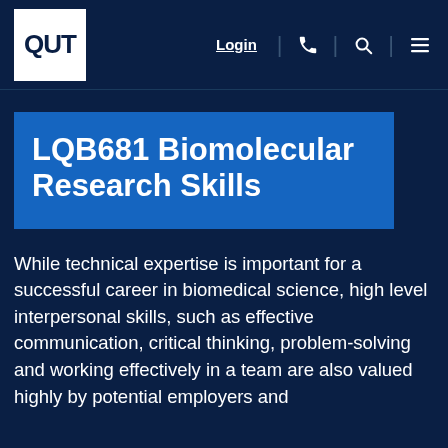QUT | Login | [phone] | [search] | [menu]
LQB681 Biomolecular Research Skills
While technical expertise is important for a successful career in biomedical science, high level interpersonal skills, such as effective communication, critical thinking, problem-solving and working effectively in a team are also valued highly by potential employers and